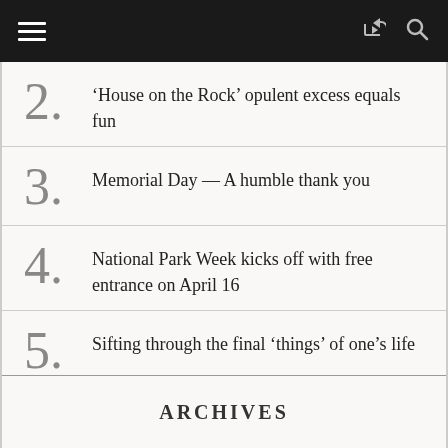Navigation bar with hamburger menu, share icon, and search icon
2. ‘House on the Rock’ opulent excess equals fun
3. Memorial Day — A humble thank you
4. National Park Week kicks off with free entrance on April 16
5. Sifting through the final ‘things’ of one’s life
ARCHIVES